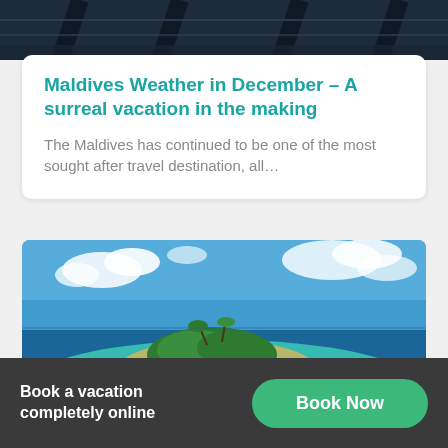[Figure (photo): Dark interior image at top of page, partially cropped]
Maldives Weather in December – A surreal vacation in the making
The Maldives has continued to be one of the most sought after travel destination, all…
[Figure (photo): Aerial view of a tropical Maldives island with turquoise water, sandy beach, palm trees, and overwater bungalows]
Book a vacation completely online
Book Now